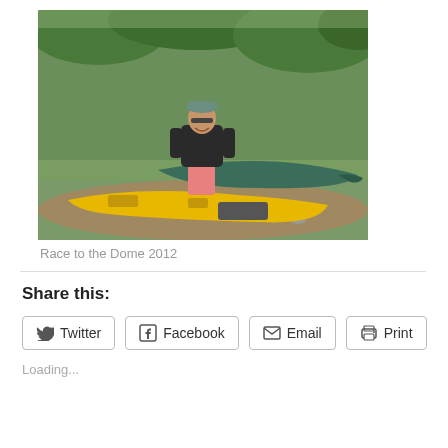[Figure (photo): A woman in a black t-shirt, pink shorts, and a cap standing beside a yellow sea kayak and a green canoe on a rocky riverbank with green trees in the background.]
Race to the Dome 2012
Share this:
Twitter Facebook Email Print
Loading...